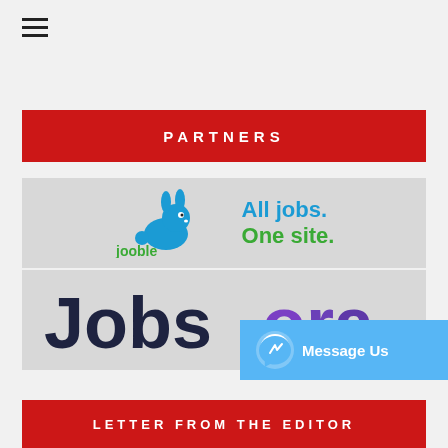[Figure (other): Hamburger menu icon (three horizontal lines)]
PARTNERS
[Figure (logo): Jooble logo with rabbit icon and tagline 'All jobs. One site.']
[Figure (logo): Jobsora logo in dark blue and purple text on grey background]
[Figure (other): Facebook Messenger 'Message Us' button in blue]
LETTER FROM THE EDITOR